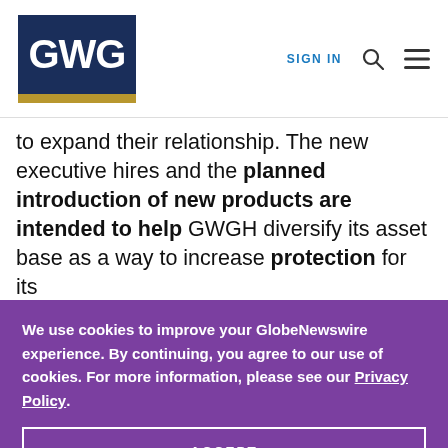GWG | SIGN IN
to expand their relationship. The new executive hires and the planned introduction of new products are intended to help GWGH diversify its asset base as a way to increase protection for its
We use cookies to improve your GlobeNewswire experience. By continuing, you agree to our use of cookies. For more information, please see our Privacy Policy.
ACCEPT